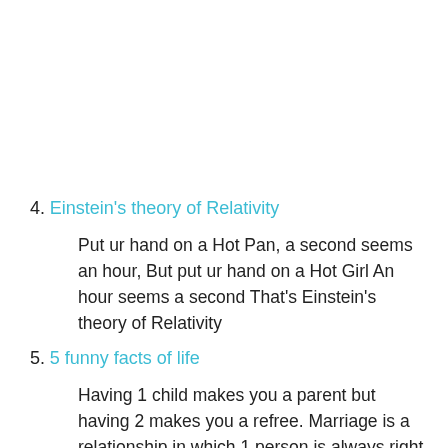4. Einstein's theory of Relativity

Put ur hand on a Hot Pan, a second seems an hour, But put ur hand on a Hot Girl An hour seems a second That's Einstein's theory of Relativity
5. 5 funny facts of life

Having 1 child makes you a parent but having 2 makes you a refree. Marriage is a relationship in which 1 person is always right and the other is always husband. You can't